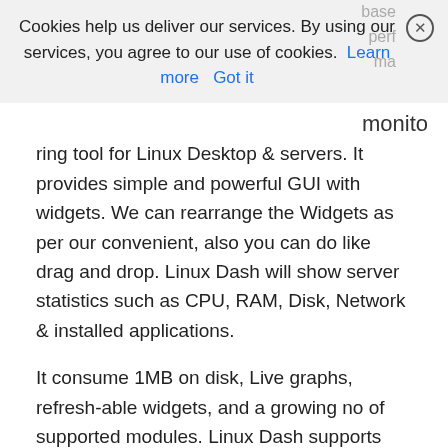Cookies help us deliver our services. By using our services, you agree to our use of cookies. Learn more  Got it
monitoring tool for Linux Desktop & servers. It provides simple and powerful GUI with widgets. We can rearrange the Widgets as per our convenient, also you can do like drag and drop. Linux Dash will show server statistics such as CPU, RAM, Disk, Network & installed applications.
It consume 1MB on disk, Live graphs, refresh-able widgets, and a growing no of supported modules. Linux Dash supports PHP on Apache and Nginx, Node.js, Python, and Go.
1) Prerequisites for Linux Dash